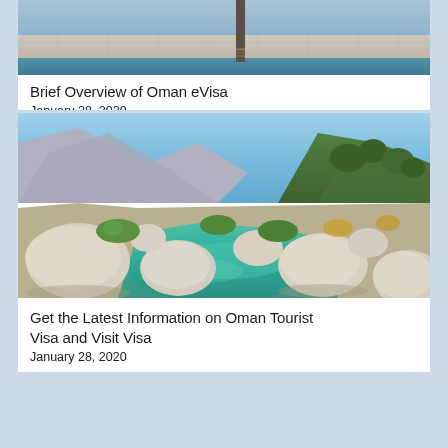[Figure (photo): Top portion of a photo showing a pool or water area with stone tiles and a decorative post, partially cropped]
Brief Overview of Oman eVisa
January 28, 2020
[Figure (photo): Scenic landscape photo of Oman showing turquoise river water surrounded by large white boulders, green vegetation, and dramatic rocky mountains under a blue sky]
Get the Latest Information on Oman Tourist Visa and Visit Visa
January 28, 2020